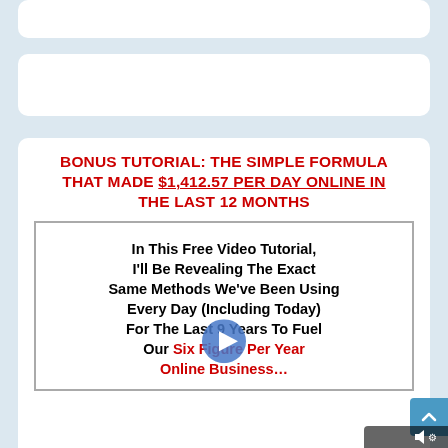BONUS TUTORIAL: THE SIMPLE FORMULA THAT MADE $1,412.57 PER DAY ONLINE IN THE LAST 12 MONTHS
[Figure (screenshot): Video player screenshot showing text: In This Free Video Tutorial, I'll Be Revealing The Exact Same Methods We've Been Using Every Day (Including Today) For The Last 9 Years To Fuel Our Six Figure Per Year Online Business... with a play button overlay]